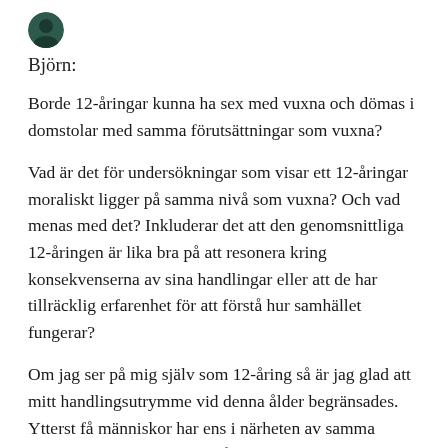Björn:
Borde 12-åringar kunna ha sex med vuxna och dömas i domstolar med samma förutsättningar som vuxna?
Vad är det för undersökningar som visar ett 12-åringar moraliskt ligger på samma nivå som vuxna? Och vad menas med det? Inkluderar det att den genomsnittliga 12-åringen är lika bra på att resonera kring konsekvenserna av sina handlingar eller att de har tillräcklig erfarenhet för att förstå hur samhället fungerar?
Om jag ser på mig själv som 12-åring så är jag glad att mitt handlingsutrymme vid denna ålder begränsades. Ytterst få människor har ens i närheten av samma politiska världsbild som 12 åringar som de senare har när de är 18,